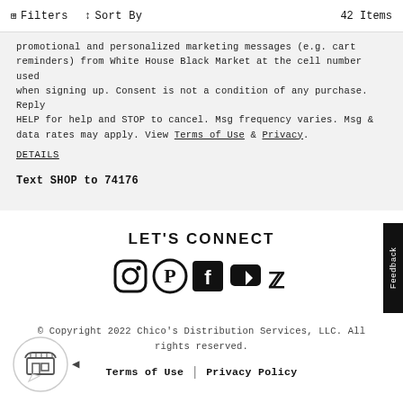Filters   Sort By   42 Items
promotional and personalized marketing messages (e.g. cart reminders) from White House Black Market at the cell number used when signing up. Consent is not a condition of any purchase. Reply HELP for help and STOP to cancel. Msg frequency varies. Msg & data rates may apply. View Terms of Use & Privacy.
DETAILS
Text SHOP to 74176
LET'S CONNECT
[Figure (illustration): Social media icons: Instagram, Pinterest, Facebook, YouTube, Twitter]
© Copyright 2022 Chico's Distribution Services, LLC. All rights reserved.
Terms of Use | Privacy Policy
[Figure (illustration): Store widget icon with arrow]